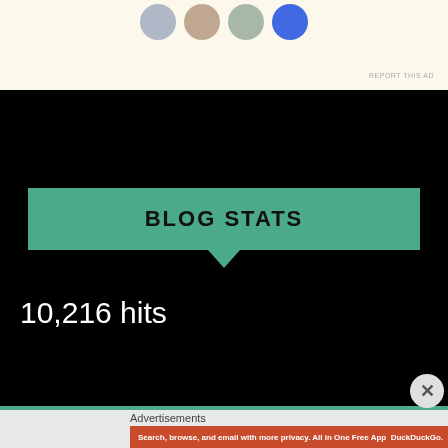[Figure (screenshot): Top section with advertisement avatars on cream/beige background. Three circular avatar images and one blue circle icon visible.]
REPORT THIS AD
BLOG STATS
10,216 hits
Advertisements
[Figure (screenshot): DuckDuckGo advertisement: Search, browse, and email with more privacy. All in One Free App. Orange background with phone image showing DuckDuckGo logo.]